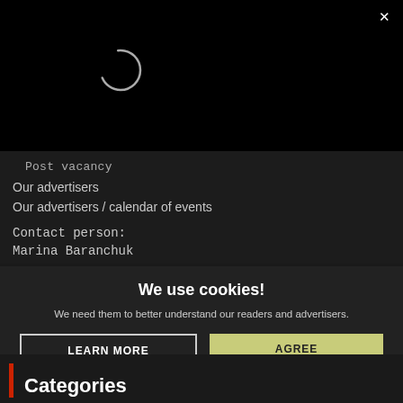[Figure (screenshot): Black background area at top with a loading/spinner circle outline in the upper-left quadrant and a close (X) button in the top-right corner.]
Post vacancy
Our advertisers
Our advertisers / calendar of events
Contact person:
Marina Baranchuk
We use cookies!
We need them to better understand our readers and advertisers.
LEARN MORE
AGREE
Categories